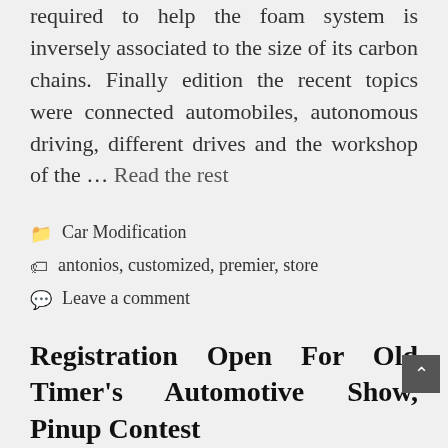required to help the foam system is inversely associated to the size of its carbon chains. Finally edition the recent topics were connected automobiles, autonomous driving, different drives and the workshop of the ... Read the rest
Car Modification
antonios, customized, premier, store
Leave a comment
Registration Open For Old Timer's Automotive Show, Pinup Contest